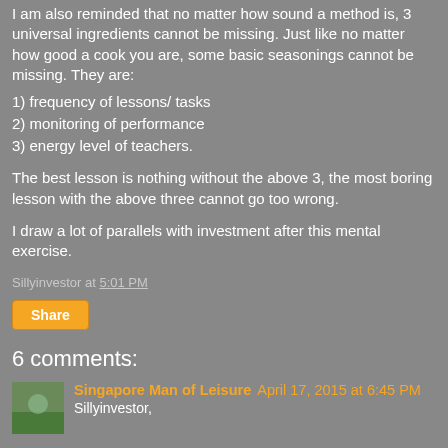I am also reminded that no matter how sound a method is, 3 universal ingredients cannot be missing. Just like no matter how good a cook you are, some basic seasonings cannot be missing. They are:
1) frequency of lessons/ tasks
2) monitoring of performance
3) energy level of teachers.
The best lesson is nothing without the above 3, the most boring lesson with the above three cannot go too wrong.
I draw a lot of parallels with investment after this mental exercise.
Sillyinvestor at 5:01 PM
Share
6 comments:
Singapore Man of Leisure April 17, 2015 at 6:45 PM
Sillyinvestor,